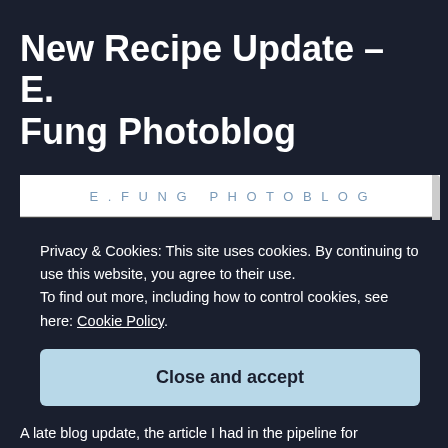New Recipe Update – E. Fung Photoblog
E.FUNG PHOTOBLOG
Privacy & Cookies: This site uses cookies. By continuing to use this website, you agree to their use.
To find out more, including how to control cookies, see here: Cookie Policy
Close and accept
A late blog update, the article I had in the pipeline for…